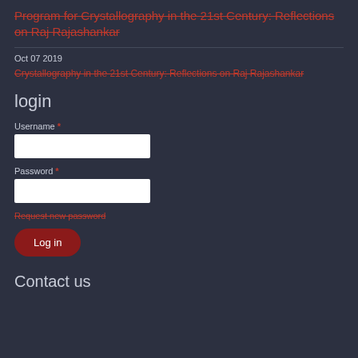Program for Crystallography in the 21st Century: Reflections on Raj Rajashankar
Oct 07 2019
Crystallography in the 21st Century: Reflections on Raj Rajashankar
login
Username *
Password *
Request new password
Log in
Contact us